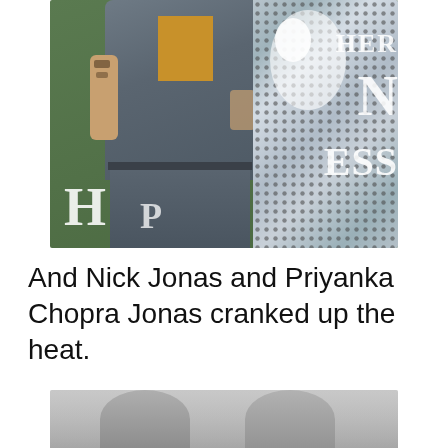[Figure (photo): Photo of Nick Jonas wearing a gray plaid suit with mustard yellow t-shirt, and Priyanka Chopra Jonas in a silver sequin outfit, posing together in front of a green poster that partially shows text 'HAPPINESS']
And Nick Jonas and Priyanka Chopra Jonas cranked up the heat.
[Figure (photo): Partial photo showing two people from shoulders up, cropped at bottom of page, grayscale/muted tones]